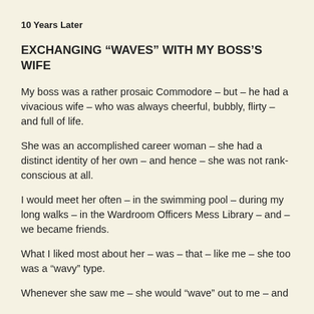10 Years Later
EXCHANGING “WAVES” WITH MY BOSS’S WIFE
My boss was a rather prosaic Commodore – but – he had a vivacious wife – who was always cheerful, bubbly, flirty – and full of life.
She was an accomplished career woman – she had a distinct identity of her own – and hence – she was not rank-conscious at all.
I would meet her often – in the swimming pool – during my long walks – in the Wardroom Officers Mess Library – and – we became friends.
What I liked most about her – was – that – like me – she too was a “wavy” type.
Whenever she saw me – she would “wave” out to me – and